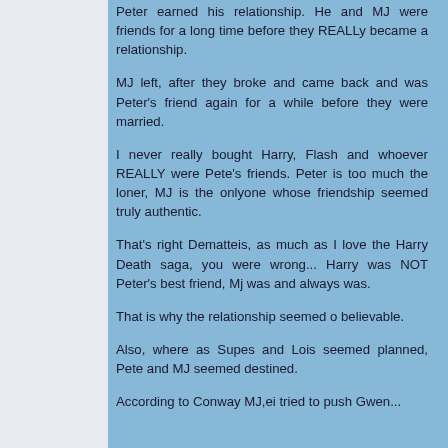Peter earned his relationship. He and MJ were friends for a long time before they REALLy became a relationship.
MJ left, after they broke and came back and was Peter's friend again for a while before they were married.
I never really bought Harry, Flash and whoever REALLY were Pete's friends. Peter is too much the loner, MJ is the onlyone whose friendship seemed truly authentic.
That's right Dematteis, as much as I love the Harry Death saga, you were wrong... Harry was NOT Peter's best friend, Mj was and always was.
That is why the relationship seemed o believable.
Also, where as Supes and Lois seemed planned, Pete and MJ seemed destined.
According to Conway MJ,ei tried to push Gwen...